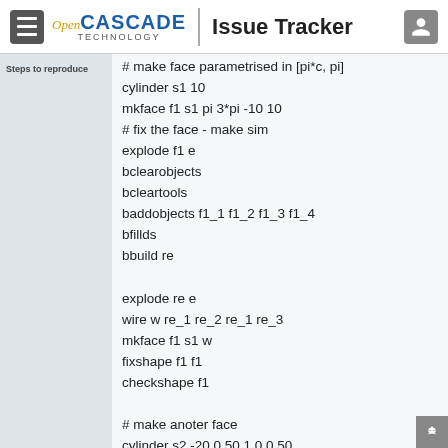Open CASCADE TECHNOLOGY | Issue Tracker
Steps to reproduce
# make face parametrised in [pi*c, pi]
cylinder s1 10
mkface f1 s1 pi 3*pi -10 10
# fix the face - make sim
explode f1 e
bclearobjects
bcleartools
baddobjects f1_1 f1_2 f1_3 f1_4
bfillds
bbuild re

explode re e
wire w re_1 re_2 re_1 re_3
mkface f1 s1 w
fixshape f1 f1
checkshape f1

# make anoter face
cylinder s2 -20 0 50 1 0 0 50
mkface f2 s2 0 2*pi 0 40

# intersect faces